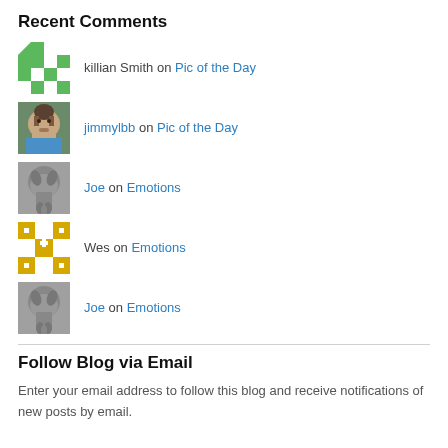Recent Comments
killian Smith on Pic of the Day
jimmylbb on Pic of the Day
Joe on Emotions
Wes on Emotions
Joe on Emotions
Follow Blog via Email
Enter your email address to follow this blog and receive notifications of new posts by email.